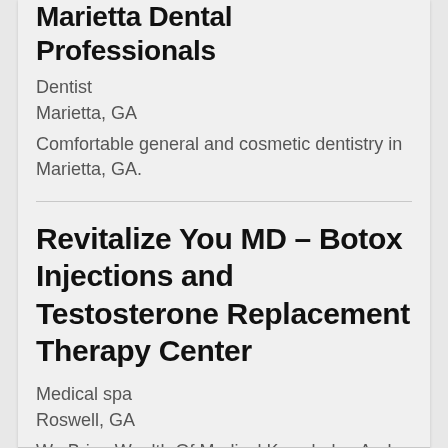Marietta Dental Professionals
Dentist
Marietta, GA
Comfortable general and cosmetic dentistry in Marietta, GA.
Revitalize You MD – Botox Injections and Testosterone Replacement Therapy Center
Medical spa
Roswell, GA
We Bring Wealth Of Medical Knowledge And Experience To Serve You